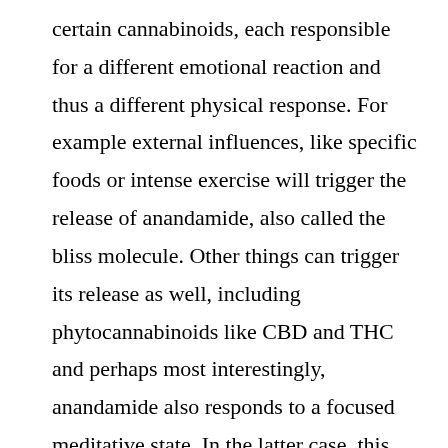certain cannabinoids, each responsible for a different emotional reaction and thus a different physical response. For example external influences, like specific foods or intense exercise will trigger the release of anandamide, also called the bliss molecule. Other things can trigger its release as well, including phytocannabinoids like CBD and THC and perhaps most interestingly, anandamide also responds to a focused meditative state. In the latter case, this means that scientists have found increased levels of anandamide in people who have consciously shifted their mindset, and gotten into the “zone” or are in a concentrated meditative state. What this means is that when you feel your best (and perform your best) your brain releases tons of positive endocannabinoids within your body, making